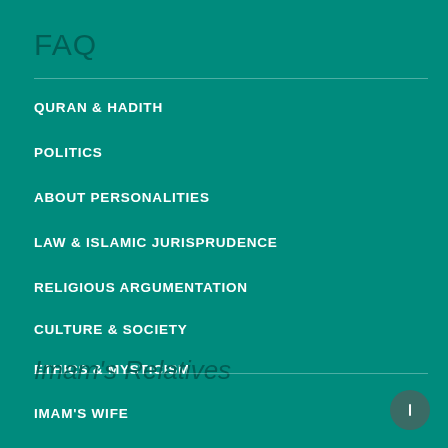FAQ
QURAN & HADITH
POLITICS
ABOUT PERSONALITIES
LAW & ISLAMIC JURISPRUDENCE
RELIGIOUS ARGUMENTATION
CULTURE & SOCIETY
ETHICS & MYSTICISM
HISTORY
THEOLOGY & PHILOSOPHY
Imam's Relatives
IMAM'S WIFE